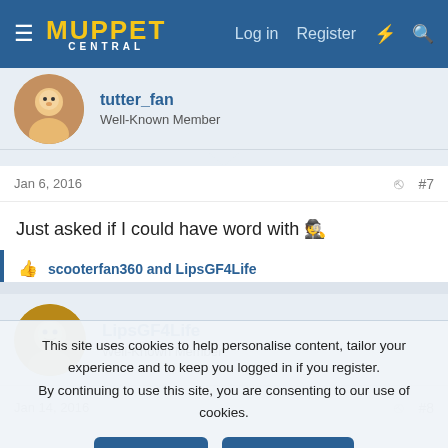Muppet Central — Log in | Register
tutter_fan
Well-Known Member
Jan 6, 2016  #7
Just asked if I could have word with 🙈
scooterfan360 and LipsGF4Life
LipsGF4Life
Well-Known Member
Jan 14, 2016  #8
This site uses cookies to help personalise content, tailor your experience and to keep you logged in if you register.
By continuing to use this site, you are consenting to our use of cookies.
✓ Accept  Learn more...